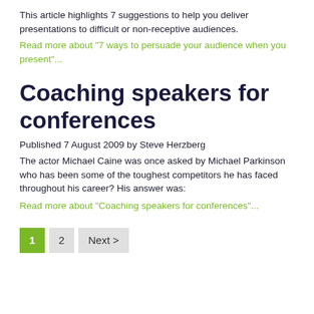This article highlights 7 suggestions to help you deliver presentations to difficult or non-receptive audiences.
Read more about "7 ways to persuade your audience when you present"...
Coaching speakers for conferences
Published 7 August 2009 by Steve Herzberg
The actor Michael Caine was once asked by Michael Parkinson who has been some of the toughest competitors he has faced throughout his career? His answer was:
Read more about "Coaching speakers for conferences"...
1  2  Next >